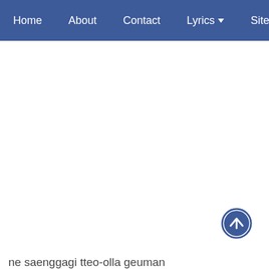Home   About   Contact   Lyrics ▾   Sitemap   Discla…
ne saenggagi tteo-olla geuman